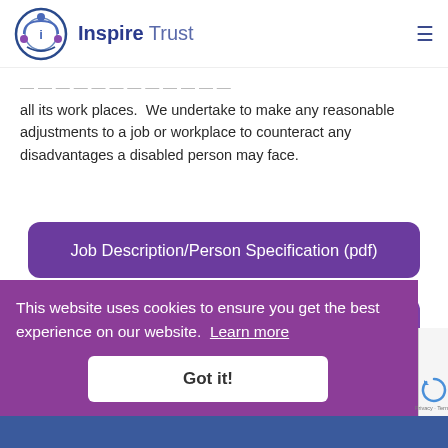Inspire Trust
all its work places. We undertake to make any reasonable adjustments to a job or workplace to counteract any disadvantages a disabled person may face.
Job Description/Person Specification (pdf)
Apply Here
This website uses cookies to ensure you get the best experience on our website. Learn more
Got it!